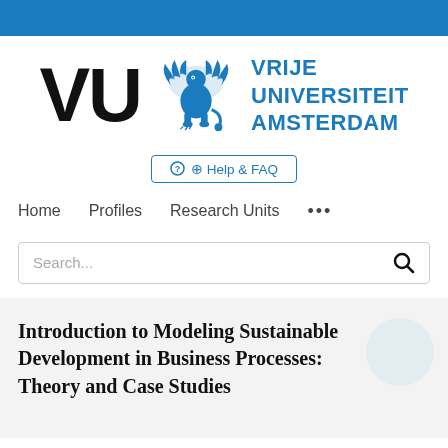[Figure (logo): VU Amsterdam logo with griffin mascot and 'VRIJE UNIVERSITEIT AMSTERDAM' text in blue]
Help & FAQ
Home    Profiles    Research Units    •••
Search...
Introduction to Modeling Sustainable Development in Business Processes: Theory and Case Studies